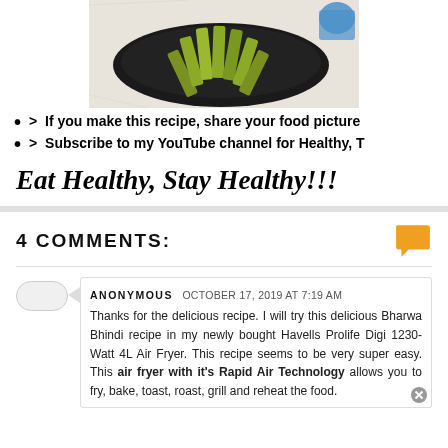[Figure (photo): Food photo showing breaded vegetable sticks (Bharwa Bhindi / stuffed okra) arranged on a dark round plate, on a white wooden surface with a blue container in the background.]
> If you make this recipe, share your food picture
> Subscribe to my YouTube channel for Healthy, T
Eat Healthy, Stay Healthy!!!
4 COMMENTS:
ANONYMOUS  OCTOBER 17, 2019 AT 7:19 AM
Thanks for the delicious recipe. I will try this delicious Bharwa Bhindi recipe in my newly bought Havells Prolife Digi 1230-Watt 4L Air Fryer. This recipe seems to be very super easy. This air fryer with it's Rapid Air Technology allows you to fry, bake, toast, roast, grill and reheat the food.